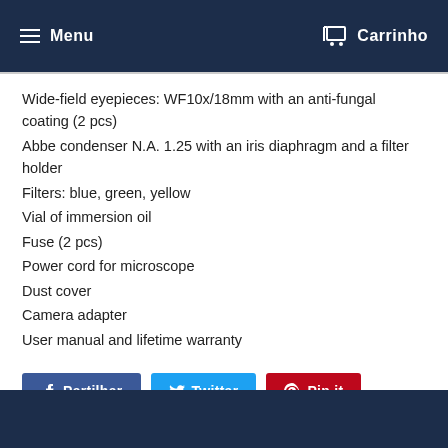Menu  Carrinho
Wide-field eyepieces: WF10x/18mm with an anti-fungal coating (2 pcs)
Abbe condenser N.A. 1.25 with an iris diaphragm and a filter holder
Filters: blue, green, yellow
Vial of immersion oil
Fuse (2 pcs)
Power cord for microscope
Dust cover
Camera adapter
User manual and lifetime warranty
Partilhar  Twittar  Pin it